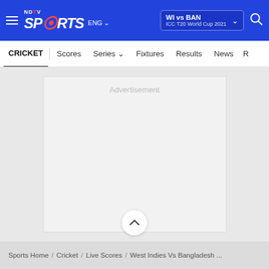NDTV Sports ENG | WI vs BAN ICC T20 World Cup 2021
CRICKET | Scores | Series | Fixtures | Results | News
[Figure (other): Advertisement placeholder box]
Sports Home / Cricket / Live Scores / West Indies Vs Bangladesh ...